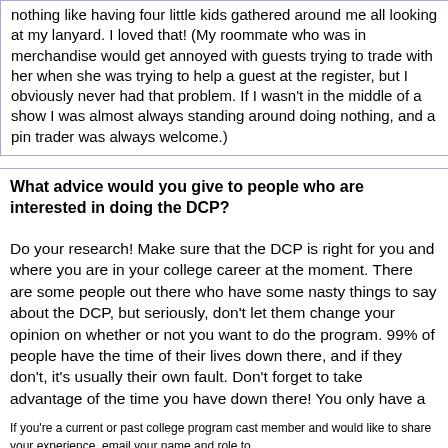nothing like having four little kids gathered around me all looking at my lanyard. I loved that! (My roommate who was in merchandise would get annoyed with guests trying to trade with her when she was trying to help a guest at the register, but I obviously never had that problem. If I wasn't in the middle of a show I was almost always standing around doing nothing, and a pin trader was always welcome.)
What advice would you give to people who are interested in doing the DCP?
Do your research! Make sure that the DCP is right for you and where you are in your college career at the moment. There are some people out there who have some nasty things to say about the DCP, but seriously, don't let them change your opinion on whether or not you want to do the program. 99% of people have the time of their lives down there, and if they don't, it's usually their own fault. Don't forget to take advantage of the time you have down there! You only have a few months, so make sure you have as much fun as you possibly can. You'll regret it if you don't.
If you're a current or past college program cast member and would like to share your experience, email your name and role to